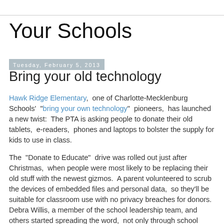Your Schools
Tuesday, February 5, 2013
Bring your old technology
Hawk Ridge Elementary, one of Charlotte-Mecklenburg Schools' "bring your own technology" pioneers, has launched a new twist: The PTA is asking people to donate their old tablets, e-readers, phones and laptops to bolster the supply for kids to use in class.
The "Donate to Educate" drive was rolled out just after Christmas, when people were most likely to be replacing their old stuff with the newest gizmos. A parent volunteered to scrub the devices of embedded files and personal data, so they'll be suitable for classroom use with no privacy breaches for donors. Debra Willis, a member of the school leadership team, and others started spreading the word, not only through school channels but to coworkers and